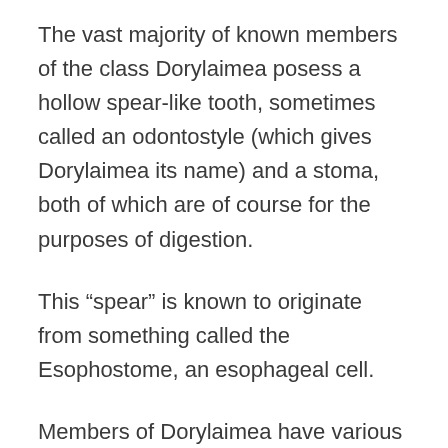The vast majority of known members of the class Dorylaimea posess a hollow spear-like tooth, sometimes called an odontostyle (which gives Dorylaimea its name) and a stoma, both of which are of course for the purposes of digestion.
This “spear” is known to originate from something called the Esophostome, an esophageal cell.
Members of Dorylaimea have various different tail shapes – tail shape can even vary between different sexes of the same species.
In some members of the class Dorylaimea, the